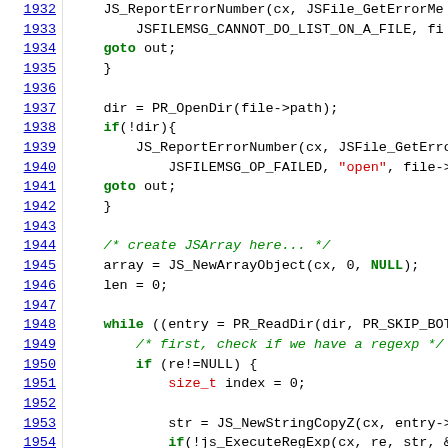[Figure (screenshot): Source code viewer showing JavaScript/C++ code lines 1932-1954 with line numbers on left in blue underlined text, and syntax-highlighted code on the right. Keywords in bold green, strings in red, comments in italic green.]